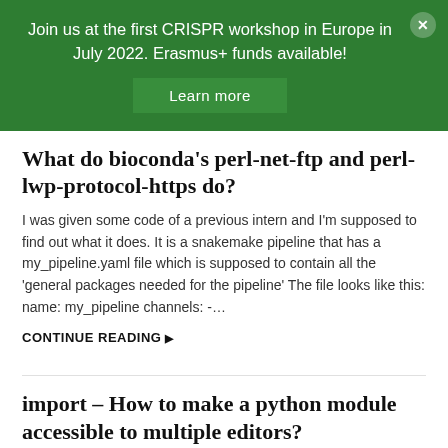Join us at the first CRISPR workshop in Europe in July 2022. Erasmus+ funds available!
What do bioconda's perl-net-ftp and perl-lwp-protocol-https do?
I was given some code of a previous intern and I'm supposed to find out what it does. It is a snakemake pipeline that has a my_pipeline.yaml file which is supposed to contain all the 'general packages needed for the pipeline' The file looks like this: name: my_pipeline channels: -…
CONTINUE READING ▶
import – How to make a python module accessible to multiple editors?
I am learning biopython and would like to use Visual Studio C… —my favorite editor so far) to do coding exercises on the topi… However, the module does not show up when I try to import using VSC…